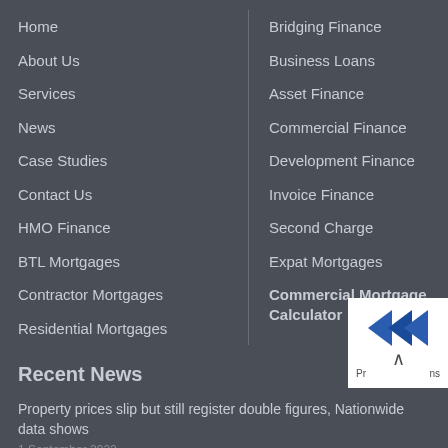Home
About Us
Services
News
Case Studies
Contact Us
HMO Finance
BTL Mortgages
Contractor Mortgages
Residential Mortgages
Bridging Finance
Business Loans
Asset Finance
Commercial Finance
Development Finance
Invoice Finance
Second Charge
Expat Mortgages
Commercial Mortgage Calculator
Recent News
Property prices slip but still register double figures, Nationwide data shows
1 September 2022
STRONG FIRST HALF FOR COMMERCIAL PROPERTY MARKET – REPORT